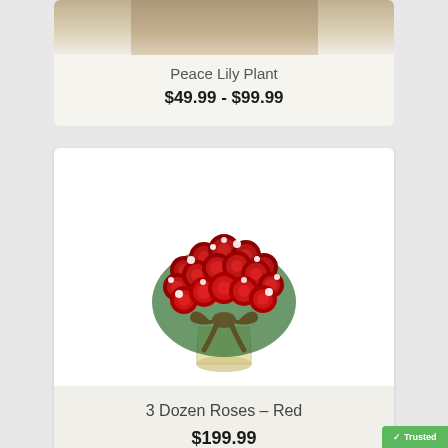[Figure (photo): Partial top of a product card showing a Peace Lily Plant image cropped at top]
Peace Lily Plant
$49.99 - $99.99
[Figure (photo): A large bouquet of 3 dozen red roses with white baby's breath in a glass vase tied with a red bow ribbon]
3 Dozen Roses – Red
$199.99